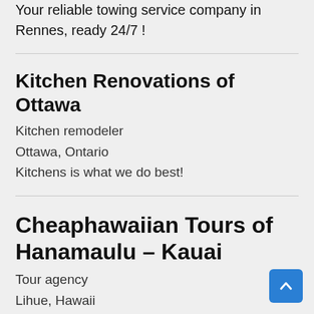Your reliable towing service company in Rennes, ready 24/7 !
Kitchen Renovations of Ottawa
Kitchen remodeler
Ottawa, Ontario
Kitchens is what we do best!
Cheaphawaiian Tours of Hanamaulu – Kauai
Tour agency
Lihue, Hawaii
#1 Tour Agency in Hanamaulu – Kauai